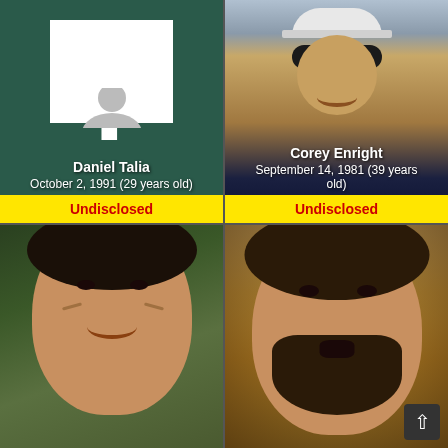[Figure (photo): Top-left card: Daniel Talia with question mark placeholder image on dark green background]
Daniel Talia
October 2, 1991 (29 years old)
Undisclosed
[Figure (photo): Top-right card: Corey Enright wearing sunglasses and white cap, smiling]
Corey Enright
September 14, 1981 (39 years old)
Undisclosed
[Figure (photo): Bottom-left card: man with dark curly hair smiling, green background]
[Figure (photo): Bottom-right card: man with dark curly hair and beard, mouth open, crowd in background]